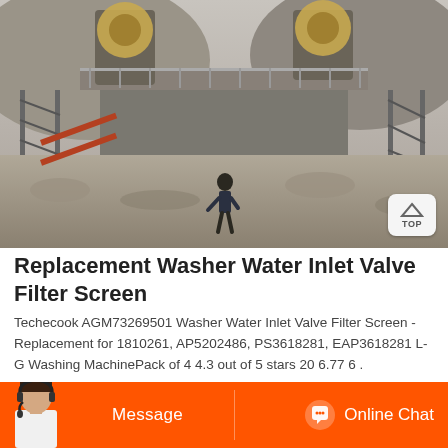[Figure (photo): Industrial quarry or mining site with large machinery, conveyor structures, and a worker on rocky ground below elevated platforms with heavy equipment.]
Replacement Washer Water Inlet Valve Filter Screen
Techecook AGM73269501 Washer Water Inlet Valve Filter Screen - Replacement for 1810261, AP5202486, PS3618281, EAP3618281 L-G Washing MachinePack of 4 4.3 out of 5 stars 20 6.77 6 .
[Figure (photo): Customer service representative with headset, used as chat support avatar on orange call-to-action bar with Message and Online Chat buttons.]